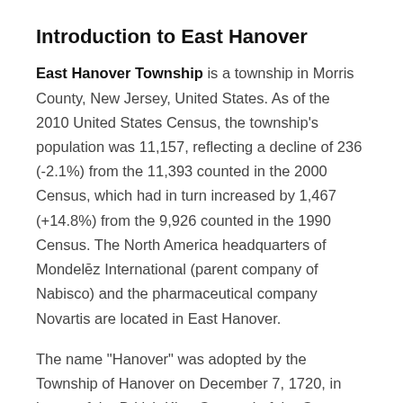Introduction to East Hanover
East Hanover Township is a township in Morris County, New Jersey, United States. As of the 2010 United States Census, the township's population was 11,157, reflecting a decline of 236 (-2.1%) from the 11,393 counted in the 2000 Census, which had in turn increased by 1,467 (+14.8%) from the 9,926 counted in the 1990 Census. The North America headquarters of Mondelēz International (parent company of Nabisco) and the pharmaceutical company Novartis are located in East Hanover.
The name "Hanover" was adopted by the Township of Hanover on December 7, 1720, in honor of the British King George I of the German dynastic House of Hanover. The boundaries of East Hanover are defined by the joining of two rivers, the Whippany River to the west and north